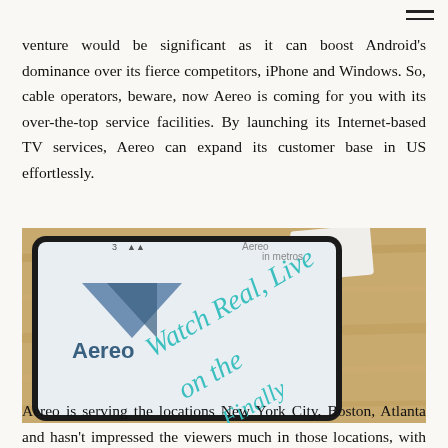venture would be significant as it can boost Android's dominance over its fierce competitors, iPhone and Windows. So, cable operators, beware, now Aereo is coming for you with its over-the-top service facilities. By launching its Internet-based TV services, Aereo can expand its customer base in US effortlessly.
[Figure (photo): Close-up photo of a smartphone displaying the Aereo app logo and the text 'Watch Real, Live on the [Internet]. Finally' on its screen, placed on a wooden surface.]
Aereo is serving the locations New York City, Boston, Atlanta and hasn't impressed the viewers much in those locations, with its